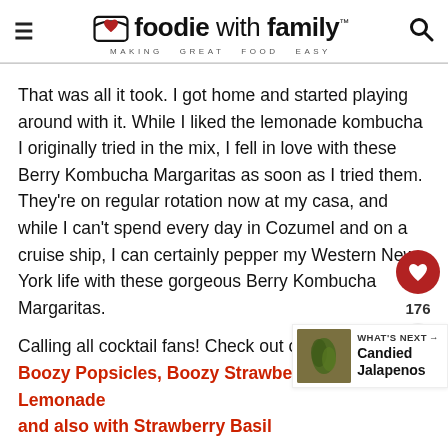foodie with family™ — MAKING GREAT FOOD EASY
That was all it took. I got home and started playing around with it. While I liked the lemonade kombucha I originally tried in the mix, I fell in love with these Berry Kombucha Margaritas as soon as I tried them. They're on regular rotation now at my casa, and while I can't spend every day in Cozumel and on a cruise ship, I can certainly pepper my Western New York life with these gorgeous Berry Kombucha Margaritas.
Calling all cocktail fans! Check out our Pineapple Boozy Popsicles, Boozy Strawberry Basil Lemonade and also with Strawberry Basil infused Vodka based...